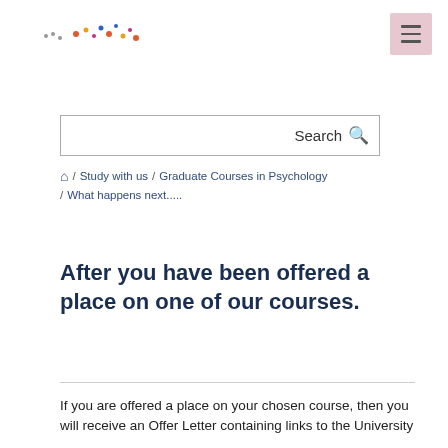[University logo] [Menu button]
[Figure (logo): University logo with colorful dots and text]
Search
🏠 / Study with us / Graduate Courses in Psychology / What happens next.....
After you have been offered a place on one of our courses.
If you are offered a place on your chosen course, then you will receive an Offer Letter containing links to the University